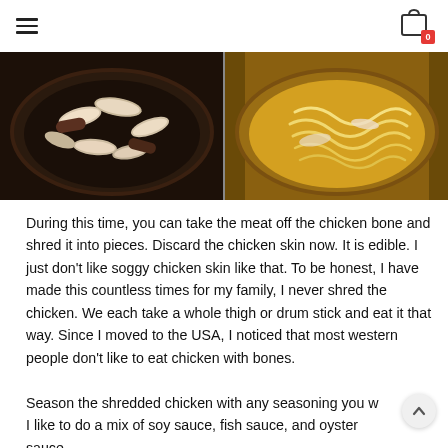≡  [cart icon with badge 0]
[Figure (photo): Two side-by-side photos of cast iron pans with food cooking. Left pan shows mushroom slices in dark broth; right pan shows noodles in golden/yellow broth.]
During this time, you can take the meat off the chicken bone and shred it into pieces. Discard the chicken skin now. It is edible. I just don't like soggy chicken skin like that. To be honest, I have made this countless times for my family, I never shred the chicken. We each take a whole thigh or drum stick and eat it that way. Since I moved to the USA, I noticed that most western people don't like to eat chicken with bones.
Season the shredded chicken with any seasoning you w... I like to do a mix of soy sauce, fish sauce, and oyster sauce...